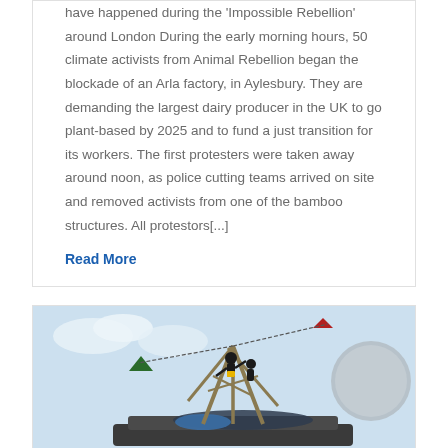have happened during the 'Impossible Rebellion' around London During the early morning hours, 50 climate activists from Animal Rebellion began the blockade of an Arla factory, in Aylesbury. They are demanding the largest dairy producer in the UK to go plant-based by 2025 and to fund a just transition for its workers. The first protesters were taken away around noon, as police cutting teams arrived on site and removed activists from one of the bamboo structures. All protestors[...]
Read More
[Figure (photo): Photo of climate activists on top of a bamboo structure on a vehicle, with triangular flags visible. Sky is light blue with clouds. A circular grey/white shape is visible on the right side.]